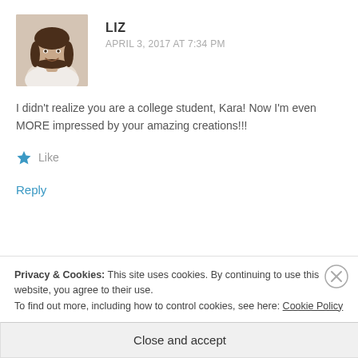[Figure (photo): Avatar photo of a woman with dark shoulder-length hair, smiling, wearing a white top.]
LIZ
APRIL 3, 2017 AT 7:34 PM
I didn't realize you are a college student, Kara! Now I'm even MORE impressed by your amazing creations!!!
★ Like
Reply
Privacy & Cookies: This site uses cookies. By continuing to use this website, you agree to their use.
To find out more, including how to control cookies, see here: Cookie Policy
Close and accept